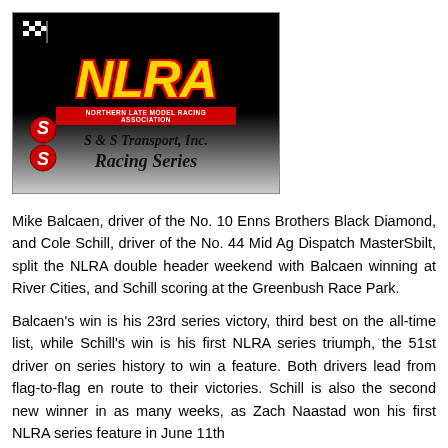[Figure (logo): NLRA Northern Late Model Racing Association / S & S Transport, Inc. Racing Series logo on black/grey gradient background with checkered flag and red S-shaped logo]
Mike Balcaen, driver of the No. 10 Enns Brothers Black Diamond, and Cole Schill, driver of the No. 44 Mid Ag Dispatch MasterSbilt, split the NLRA double header weekend with Balcaen winning at River Cities, and Schill scoring at the Greenbush Race Park.
Balcaen's win is his 23rd series victory, third best on the all-time list, while Schill's win is his first NLRA series triumph, the 51st driver on series history to win a feature. Both drivers lead from flag-to-flag en route to their victories. Schill is also the second new winner in as many weeks, as Zach Naastad won his first NLRA series feature in June 11th